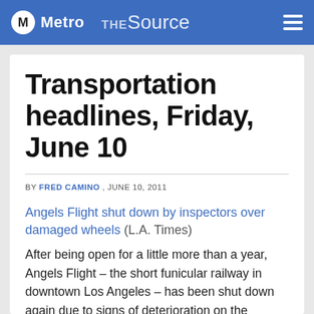Metro THE SOURCE
Transportation headlines, Friday, June 10
BY FRED CAMINO , JUNE 10, 2011
Angels Flight shut down by inspectors over damaged wheels (L.A. Times)
After being open for a little more than a year, Angels Flight – the short funicular railway in downtown Los Angeles – has been shut down again due to signs of deterioration on the wheels of the rail cars. Those familiar with the railway recall that it was out of service for a number of decades and was out of service for